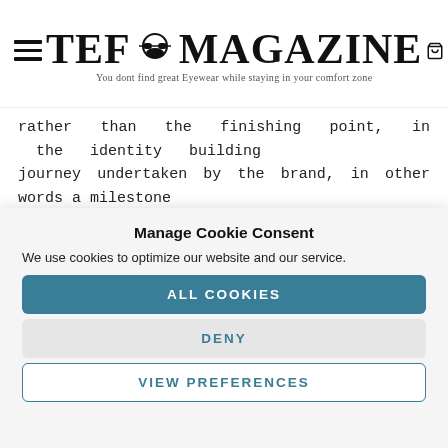TEF MAGAZINE — You dont find great Eyewear while staying in your comfort zone — (0)
rather than the finishing point, in the identity building journey undertaken by the brand, in other words a milestone in its history. Titanium, always the distinctive feature of Blackfin eyewear, remains the element to be moulded and th...
Manage Cookie Consent
We use cookies to optimize our website and our service.
ALL COOKIES
DENY
VIEW PREFERENCES